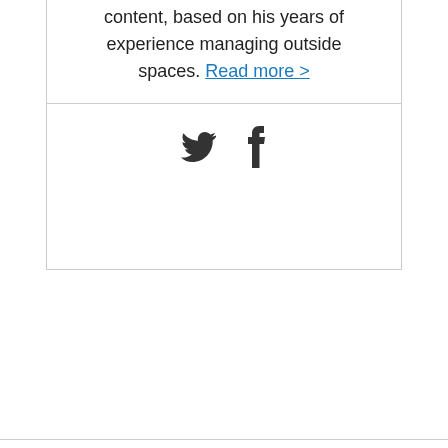content, based on his years of experience managing outside spaces. Read more >
[Figure (other): Twitter and Facebook social share icons]